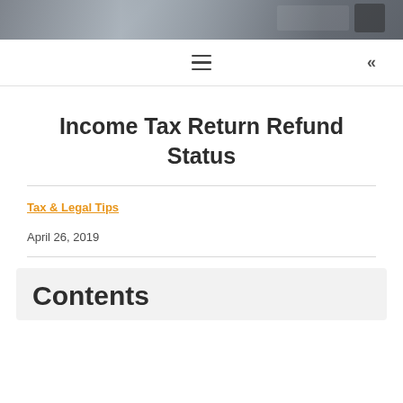[Figure (photo): Dark photo banner showing a laptop screen with financial/stock data and a smartphone, partially visible at top of page]
≡  «
Income Tax Return Refund Status
Tax & Legal Tips
April 26, 2019
Contents